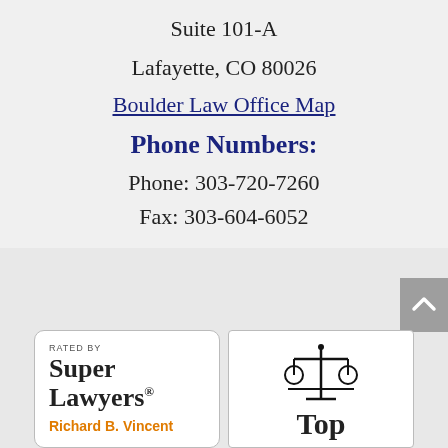Suite 101-A
Lafayette, CO 80026
Boulder Law Office Map
Phone Numbers:
Phone: 303-720-7260
Fax: 303-604-6052
[Figure (logo): Super Lawyers badge: RATED BY Super Lawyers, Richard B. Vincent]
[Figure (logo): Top attorney badge with scales of justice icon and 'Top' text]